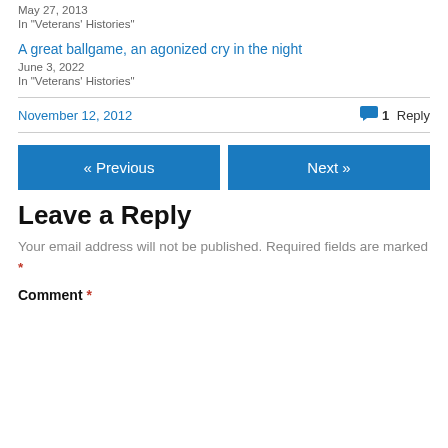May 27, 2013
In "Veterans' Histories"
A great ballgame, an agonized cry in the night
June 3, 2022
In "Veterans' Histories"
November 12, 2012
1 Reply
« Previous
Next »
Leave a Reply
Your email address will not be published. Required fields are marked *
Comment *